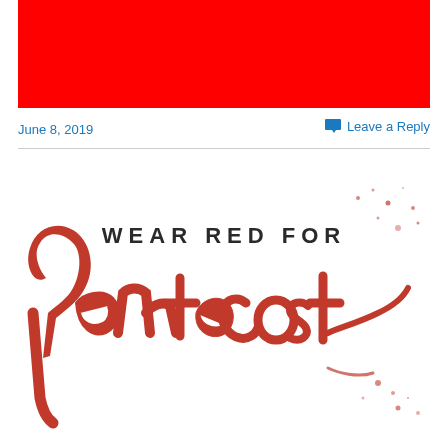[Figure (illustration): Solid red rectangle banner at the top of the page]
June 8, 2019
Leave a Reply
[Figure (illustration): Wear Red for Pentecost logo — 'WEAR RED FOR' in dark capital letters above a large red brush-lettered 'Pentecost' script with red paint splatter effects]